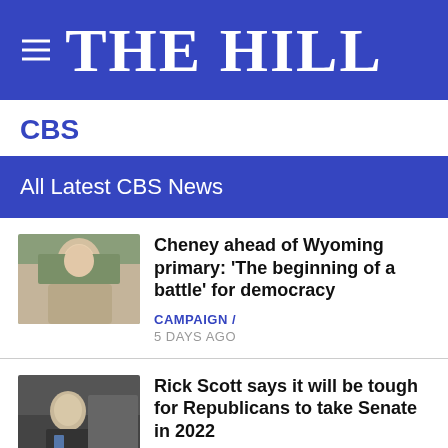THE HILL
CBS
All Latest CBS News
[Figure (photo): Photo of Liz Cheney outdoors]
Cheney ahead of Wyoming primary: 'The beginning of a battle' for democracy
CAMPAIGN / 5 DAYS AGO
[Figure (photo): Photo of Rick Scott in a hallway]
Rick Scott says it will be tough for Republicans to take Senate in 2022